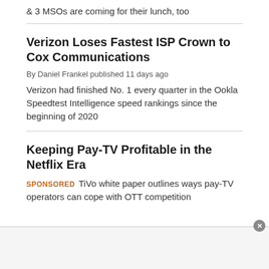& 3 MSOs are coming for their lunch, too
Verizon Loses Fastest ISP Crown to Cox Communications
By Daniel Frankel published 11 days ago
Verizon had finished No. 1 every quarter in the Ookla Speedtest Intelligence speed rankings since the beginning of 2020
Keeping Pay-TV Profitable in the Netflix Era
SPONSORED   TiVo white paper outlines ways pay-TV operators can cope with OTT competition